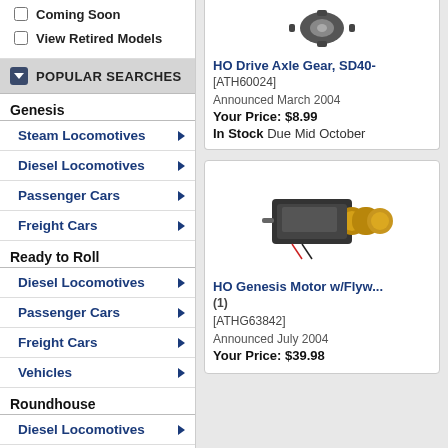Coming Soon
View Retired Models
POPULAR SEARCHES
Genesis
Steam Locomotives
Diesel Locomotives
Passenger Cars
Freight Cars
Ready to Roll
Diesel Locomotives
Passenger Cars
Freight Cars
Vehicles
Roundhouse
Diesel Locomotives
[Figure (photo): HO Drive Axle Gear part photo]
HO Drive Axle Gear, SD40- [ATH60024]
Announced March 2004
Your Price: $8.99
In Stock Due Mid October
[Figure (photo): HO Genesis Motor with flywheel photo]
HO Genesis Motor w/Flyw... (1) [ATHG63842]
Announced July 2004
Your Price: $39.98